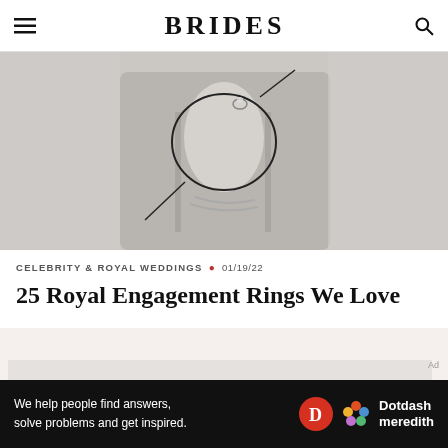BRIDES
[Figure (photo): Black and white photo of a person's hand holding a circular hoop/object with an engagement ring on their finger, wearing a blazer and bracelet.]
CELEBRITY & ROYAL WEDDINGS • 01/19/22
25 Royal Engagement Rings We Love
[Figure (other): Advertisement placeholder box (light gray empty area)]
Ad
We help people find answers, solve problems and get inspired. Dotdash meredith